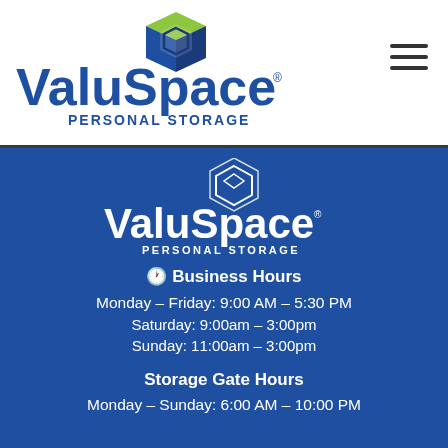[Figure (logo): ValuSpace Personal Storage logo in blue and green on white background header]
[Figure (logo): ValuSpace Personal Storage logo in white on blue background]
🕐 Business Hours
Monday – Friday: 9:00 AM – 5:30 PM
Saturday: 9:00am – 3:00pm
Sunday: 11:00am – 3:00pm
Storage Gate Hours
Monday – Sunday: 6:00 AM – 10:00 PM